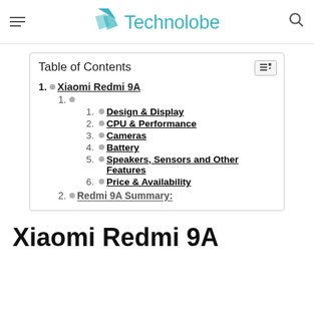Technolobe
Table of Contents
1. Xiaomi Redmi 9A
1.
1. Design & Display
2. CPU & Performance
3. Cameras
4. Battery
5. Speakers, Sensors and Other Features
6. Price & Availability
2. Redmi 9A Summary:
Xiaomi Redmi 9A